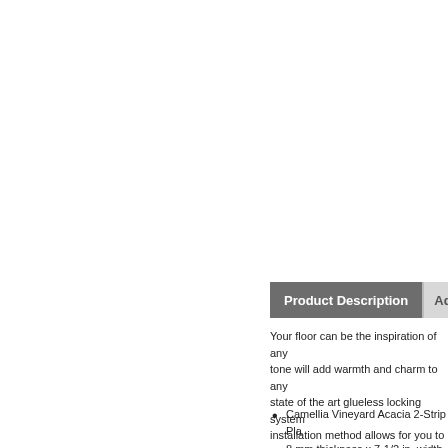Product Description
Your floor can be the inspiration of any tone will add warmth and charm to any state of the art glueless locking system installation method allows for you to ins enjoying your floor not cleaning it maki most green rating systems, helps a proj
Camellia Vineyard Acacia 2-Strip Pl
8 mm thickness x 7-1/2 in. width x 4 19.63 sq. ft. per case. Case quanti